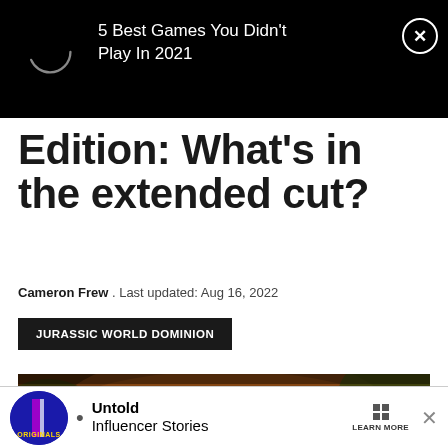[Figure (screenshot): Top black ad banner with loading spinner circle and text '5 Best Games You Didn't Play In 2021' with close button]
Edition: What's in the extended cut?
Cameron Frew . Last updated: Aug 16, 2022
JURASSIC WORLD DOMINION
[Figure (photo): Scene from Jurassic World Dominion showing cast members looking up in a jungle/cave setting with warm amber lighting]
[Figure (screenshot): Bottom advertisement banner: Originals logo, bullet point, 'Untold Influencer Stories', LEARN MORE button, X close button]